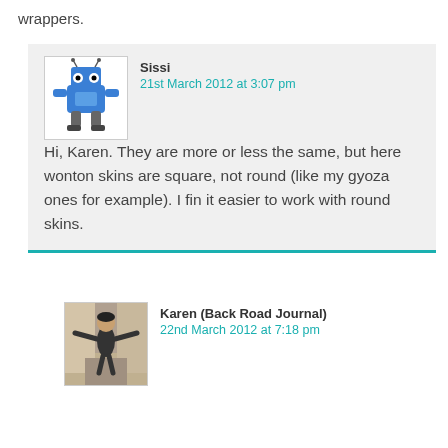wrappers.
[Figure (illustration): Blue cartoon robot/monster avatar for user Sissi]
Sissi
21st March 2012 at 3:07 pm
Hi, Karen. They are more or less the same, but here wonton skins are square, not round (like my gyoza ones for example). I fin it easier to work with round skins.
[Figure (photo): Photo avatar of Karen (Back Road Journal) in an alley with arms spread]
Karen (Back Road Journal)
22nd March 2012 at 7:18 pm